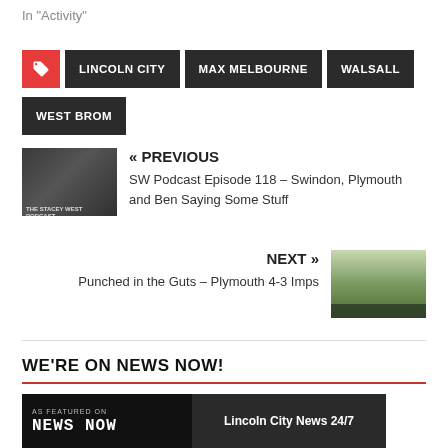In "Activity"
LINCOLN CITY
MAX MELBOURNE
WALSALL
WEST BROM
« PREVIOUS
SW Podcast Episode 118 – Swindon, Plymouth and Ben Saying Some Stuff
NEXT »
Punched in the Guts – Plymouth 4-3 Imps
WE'RE ON NEWS NOW!
AS FEATURED ON
NEWS NOW
Lincoln City News 24/7